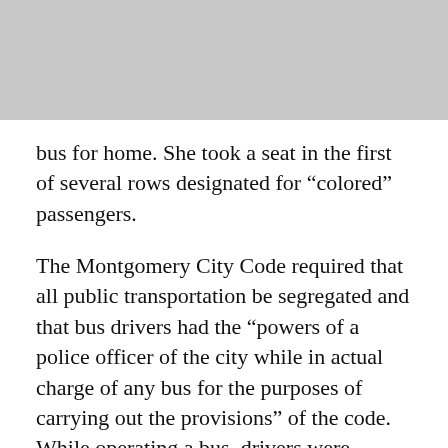[Figure (other): Gray header bar at top of page]
bus for home. She took a seat in the first of several rows designated for “colored” passengers.
The Montgomery City Code required that all public transportation be segregated and that bus drivers had the “powers of a police officer of the city while in actual charge of any bus for the purposes of carrying out the provisions” of the code. While operating a bus, drivers were required to provide separate but equal accommodations for white and Black passengers by assigning seats.